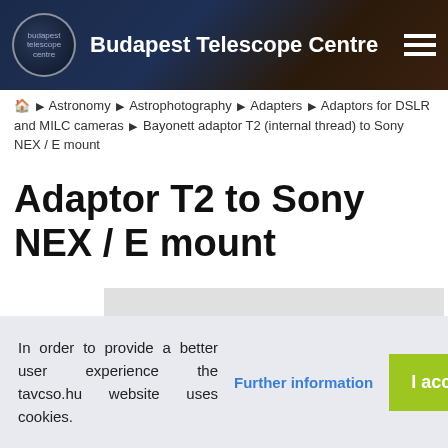Budapest Telescope Centre
Home ▶ Astronomy ▶ Astrophotography ▶ Adapters ▶ Adaptors for DSLR and MILC cameras ▶ Bayonett adaptor T2 (internal thread) to Sony NEX / E mount
Adaptor T2 to Sony NEX / E mount
[Figure (photo): Black circular camera adapter/ring component photographed on white background, showing the T2 to Sony NEX / E mount adapter]
In order to provide a better user experience the tavcso.hu website uses cookies.
Further information
I accept